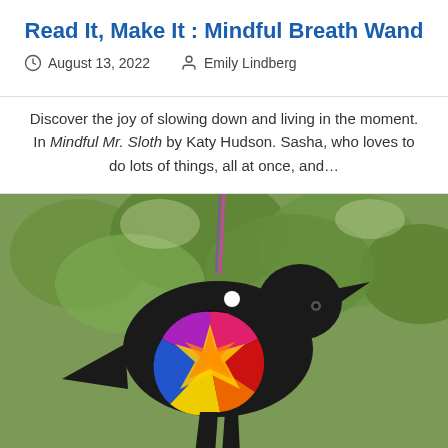Read It, Make It : Mindful Breath Wand
August 13, 2022   Emily Lindberg
Discover the joy of slowing down and living in the moment. In Mindful Mr. Sloth by Katy Hudson. Sasha, who loves to do lots of things, all at once, and…
[Figure (photo): A black bird silhouette craft hanging from a tree branch, with a colorful stained-glass style circular window inside, featuring rainbow-colored tissue paper pieces. The background shows green trees in soft focus.]